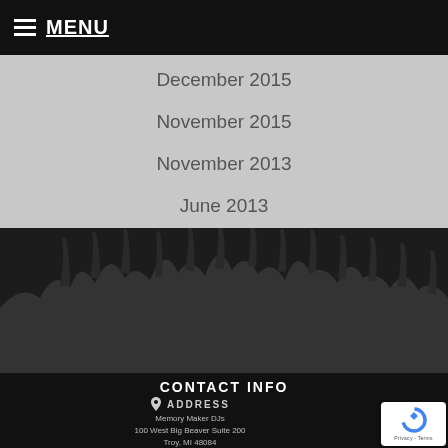MENU
December 2015
November 2015
November 2013
June 2013
[Figure (photo): Dark silhouette of a concert crowd with hands raised]
CONTACT INFO
ADDRESS
Memory Maker DJs
100 West Big Beaver Suite 200
Troy, MI 48084